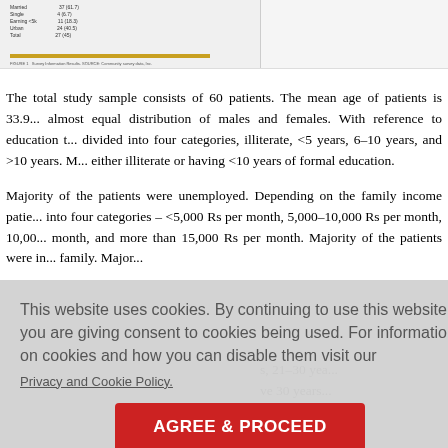[Figure (table-as-image): Partial view of a data table with demographic statistics and a yellow bar, with a caption below.]
The total study sample consists of 60 patients. The mean age of patients is 33.9... almost equal distribution of males and females. With reference to education t... divided into four categories, illiterate, <5 years, 6–10 years, and >10 years. M... either illiterate or having <10 years of formal education.
Majority of the patients were unemployed. Depending on the family income patie... into four categories – <5,000 Rs per month, 5,000–10,000 Rs per month, 10,00... month, and more than 15,000 Rs per month. Majority of the patients were in... family. Major...
...s, 21–30 yea... ve 30 years... dolescent ag...
...e of onset... sorder patie...
This website uses cookies. By continuing to use this website you are giving consent to cookies being used. For information on cookies and how you can disable them visit our Privacy and Cookie Policy.